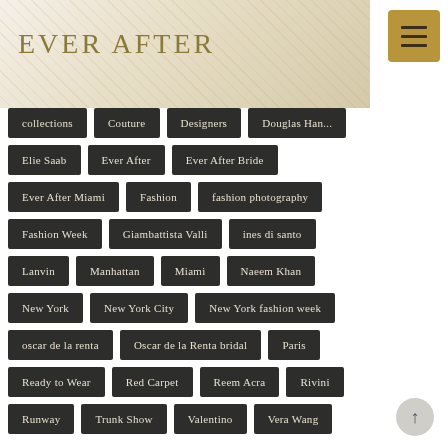EVER AFTER
collections
Couture
Designers
Douglas Hannant
Elie Saab
Ever After
Ever After Bride
Ever After Miami
Fashion
fashion photography
Fashion Week
Giambattista Valli
ines di santo
Lanvin
Manhattan
Miami
Naeem Khan
New York
New York City
New York fashion week
oscar de la renta
Oscar de la Renta bridal
Paris
Ready to Wear
Red Carpet
Reem Acra
Rivini
Runway
Trunk Show
Valentino
Vera Wang